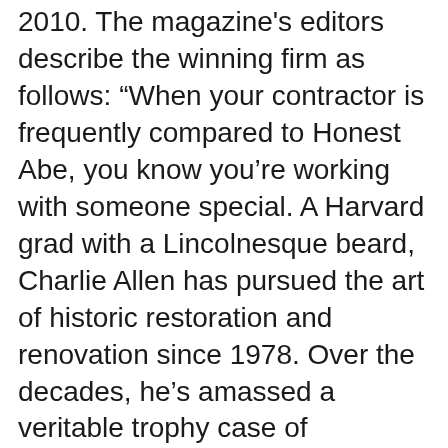2010. The magazine's editors describe the winning firm as follows: “When your contractor is frequently compared to Honest Abe, you know you’re working with someone special. A Harvard grad with a Lincolnesque beard, Charlie Allen has pursued the art of historic restoration and renovation since 1978. Over the decades, he’s amassed a veritable trophy case of preservation awards while recruiting an equally talented staff (he even pays for their continuing education). Together, he and his team bring period homes back to their original luster, room by room. Allen’s company is admirably forward-looking, too: Project Development Manager Mark Philben is a certified green remodeler.”